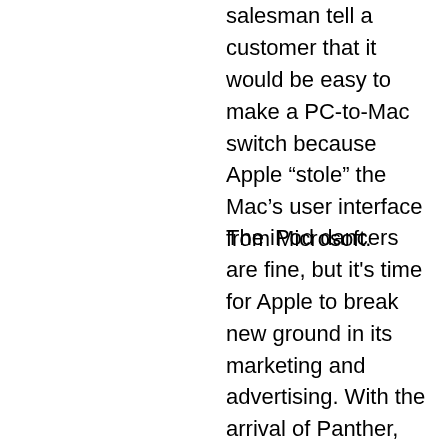salesman tell a customer that it would be easy to make a PC-to-Mac switch because Apple “stole” the Mac’s user interface from Microsoft.
The iPod dancers are fine, but it's time for Apple to break new ground in its marketing and advertising. With the arrival of Panther, the success of the iPod and the Apple Music Store, the recent upgrades of the iBook